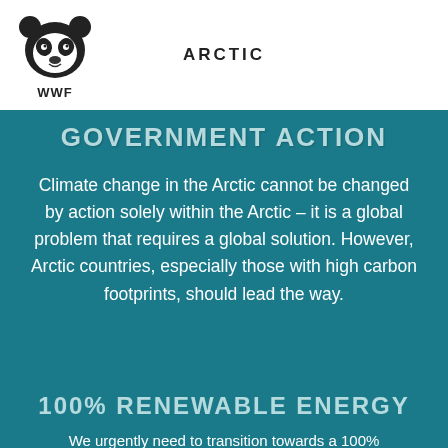ARCTIC
[Figure (logo): WWF panda logo in black and white]
GOVERNMENT ACTION
Climate change in the Arctic cannot be changed by action solely within the Arctic – it is a global problem that requires a global solution. However, Arctic countries, especially those with high carbon footprints, should lead the way.
100% RENEWABLE ENERGY
We urgently need to transition towards a 100%